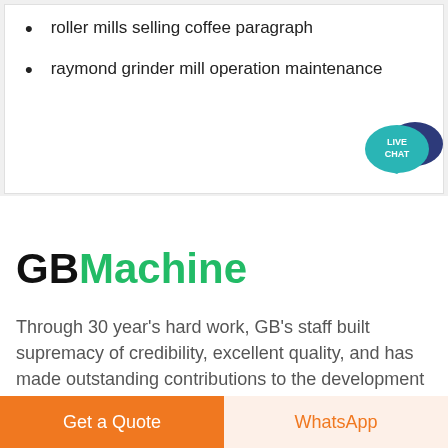roller mills selling coffee paragraph
raymond grinder mill operation maintenance
[Figure (illustration): Live Chat speech bubble widget icon with teal and dark navy blue chat bubbles, text 'LIVE CHAT']
[Figure (logo): GBMachine logo: 'GB' in black bold, 'Machine' in green bold]
Through 30 year's hard work, GB's staff built supremacy of credibility, excellent quality, and has made outstanding contributions to the development of mechanical
Get a Quote
WhatsApp